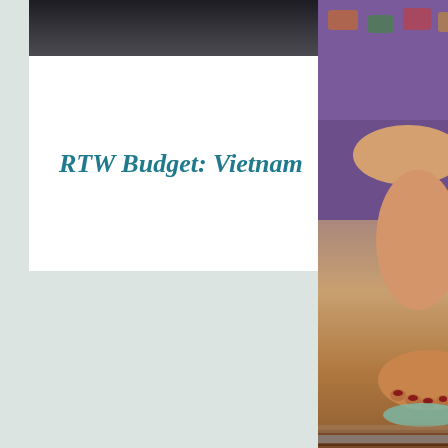[Figure (photo): Dark surface photo, top portion of left card]
RTW Budget: Vietnam
[Figure (photo): Photo of a person's foot/leg wearing purple patterned pants, stepping on a wooden floor with a round dish]
The Female Dig.